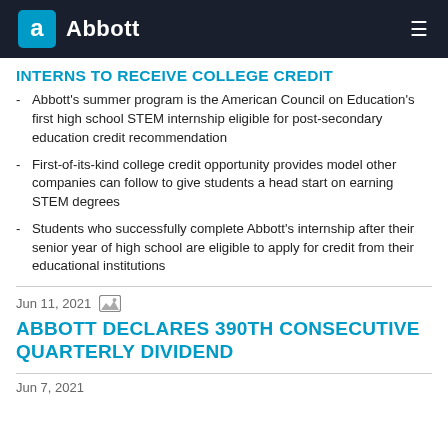Abbott
INTERNS TO RECEIVE COLLEGE CREDIT
Abbott's summer program is the American Council on Education's first high school STEM internship eligible for post-secondary education credit recommendation
First-of-its-kind college credit opportunity provides model other companies can follow to give students a head start on earning STEM degrees
Students who successfully complete Abbott's internship after their senior year of high school are eligible to apply for credit from their educational institutions
Jun 11, 2021
ABBOTT DECLARES 390TH CONSECUTIVE QUARTERLY DIVIDEND
Jun 7, 2021